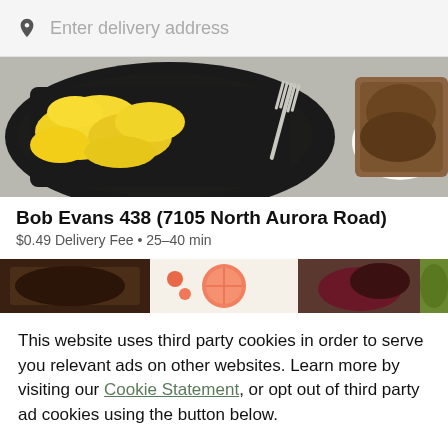Enter delivery address
[Figure (photo): Photo of scrambled eggs in a black pan with toast and a fork on a marble surface]
Bob Evans 438 (7105 North Aurora Road)
$0.49 Delivery Fee • 25–40 min
[Figure (photo): Strip of food photos showing various restaurant dishes]
This website uses third party cookies in order to serve you relevant ads on other websites. Learn more by visiting our Cookie Statement, or opt out of third party ad cookies using the button below.